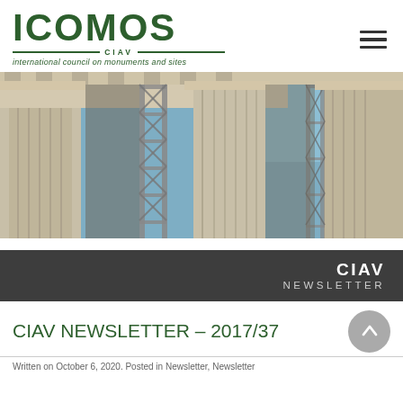[Figure (logo): ICOMOS CIAV logo — international council on monuments and sites, dark green text]
[Figure (photo): Close-up photo of ancient Greek/Roman temple columns with scaffolding, blue sky background — appears to be the Parthenon or similar monument under restoration]
CIAV NEWSLETTER
CIAV NEWSLETTER – 2017/37
Written on October 6, 2020. Posted in Newsletter, Newsletter